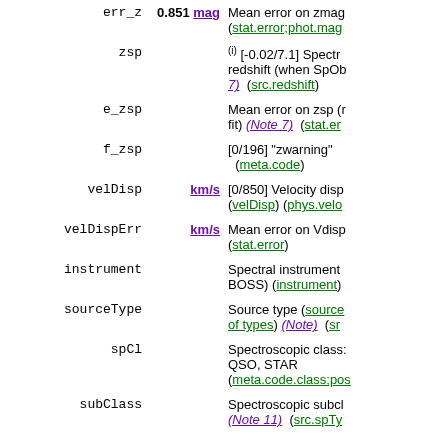| Name | Unit | Description |
| --- | --- | --- |
| err_z | 0.851 mag | Mean error on zmag (stat.error;phot.mag) |
| zsp |  | (i) [-0.02/7.1] Spectroscopic redshift (when SpObj...) (Note 7) (src.redshift) |
| e_zsp |  | Mean error on zsp (redshift fit) (Note 7) (stat.error...) |
| f_zsp |  | [0/196] "zwarning" (meta.code) |
| velDisp | km/s | [0/850] Velocity disp... (velDisp) (phys.velo...) |
| velDispErr | km/s | Mean error on Vdisp... (stat.error) |
| instrument |  | Spectral instrument ... BOSS) (instrument) |
| sourceType |  | Source type (sourceType...) (list of types) (Note) (src...) |
| spCl |  | Spectroscopic class: ... QSO, STAR (meta.code.class;pos...) |
| subClass |  | Spectroscopic subcl... (Note 11) (src.spTy...) |